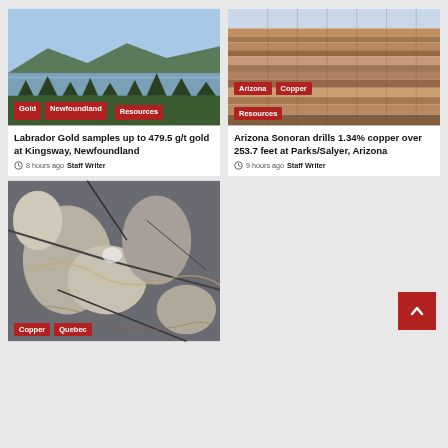[Figure (photo): Lake and forest landscape with coniferous trees, Newfoundland]
Gold  Newfoundland  Resources
Labrador Gold samples up to 479.5 g/t gold at Kingsway, Newfoundland
8 hours ago  Staff Writer
[Figure (photo): Open pit mine with layered rock strata, Arizona]
Arizona  Copper  Resources
Arizona Sonoran drills 1.34% copper over 253.7 feet at Parks/Salyer, Arizona
9 hours ago  Staff Writer
[Figure (photo): Close-up of rock formation with copper mineralization, Quebec]